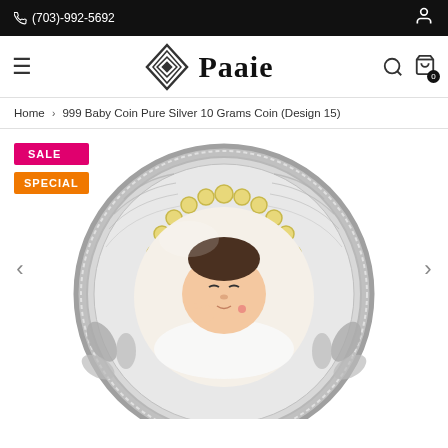(703)-992-5692
[Figure (logo): Paaie brand logo with diamond geometric icon and serif brand name]
Home › 999 Baby Coin Pure Silver 10 Grams Coin (Design 15)
SALE
SPECIAL
[Figure (photo): Silver coin featuring a sleeping newborn baby in center, surrounded by gold pearl-like decorative border and silver floral motifs on a circular silver coin]